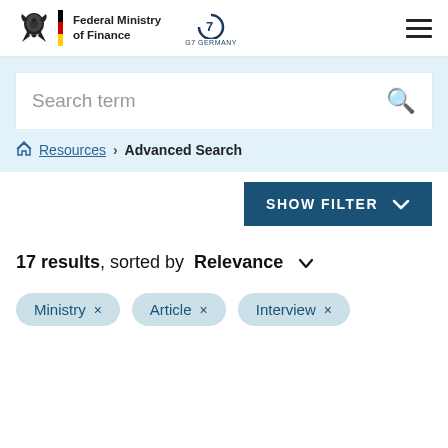Federal Ministry of Finance | G7 Germany
Search term
Resources > Advanced Search
SHOW FILTER
17 results, sorted by Relevance
Ministry ×
Article ×
Interview ×